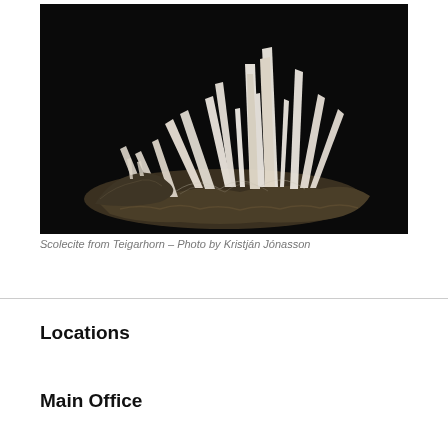[Figure (photo): Photograph of a scolecite mineral specimen from Teigarhorn against a black background, showing white needle-like crystal clusters radiating outward from a rocky base.]
Scolecite from Teigarhorn – Photo by Kristján Jónasson
Locations
Main Office